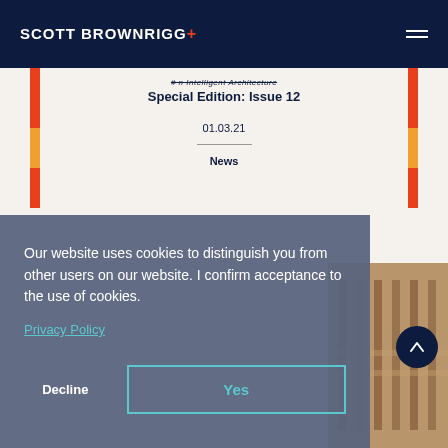SCOTT BROWNRIGG+
# n Intelligent Architecture Special Edition: Issue 12
01.03.21
News
Our website uses cookies to distinguish you from other users on our website. I confirm acceptance to the use of cookies.
Privacy Policy
Decline
Yes
[Figure (photo): Partial view of an interior architectural space with warm wood tones]